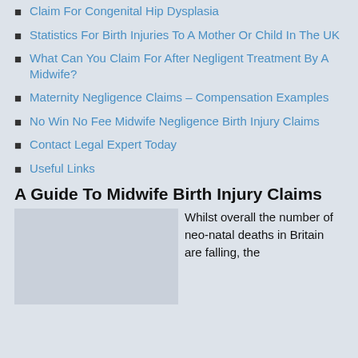Claim For Congenital Hip Dysplasia
Statistics For Birth Injuries To A Mother Or Child In The UK
What Can You Claim For After Negligent Treatment By A Midwife?
Maternity Negligence Claims – Compensation Examples
No Win No Fee Midwife Negligence Birth Injury Claims
Contact Legal Expert Today
Useful Links
A Guide To Midwife Birth Injury Claims
Whilst overall the number of neo-natal deaths in Britain are falling, the